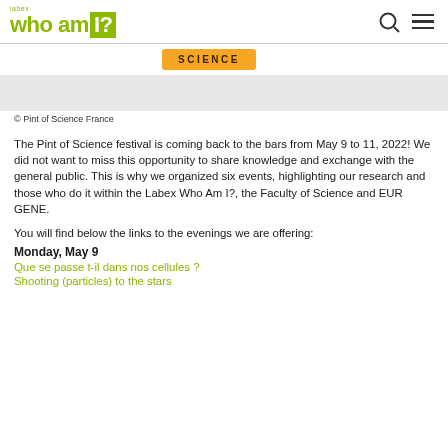labex who am I?
[Figure (photo): Partial image of Pint of Science logo on orange banner with text 'SCIENCE', partially visible, above a gray placeholder box]
© Pint of Science France
The Pint of Science festival is coming back to the bars from May 9 to 11, 2022! We did not want to miss this opportunity to share knowledge and exchange with the general public. This is why we organized six events, highlighting our research and those who do it within the Labex Who Am I?, the Faculty of Science and EUR GENE.
You will find below the links to the evenings we are offering:
Monday, May 9
Que se passe t-il dans nos cellules ?
Shooting (particles) to the stars